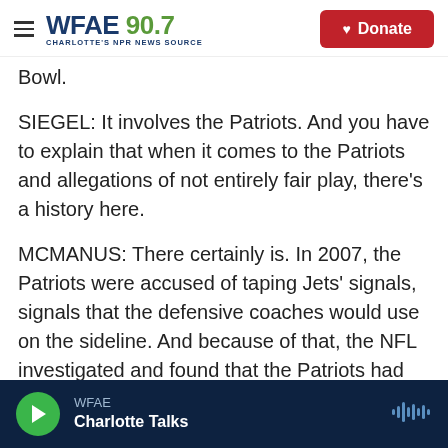WFAE 90.7 Charlotte's NPR News Source | Donate
Bowl.
SIEGEL: It involves the Patriots. And you have to explain that when it comes to the Patriots and allegations of not entirely fair play, there's a history here.
MCMANUS: There certainly is. In 2007, the Patriots were accused of taping Jets' signals, signals that the defensive coaches would use on the sideline. And because of that, the NFL investigated and found that the Patriots had done that. And that is something that has definitely tarnished Belichick's
WFAE | Charlotte Talks